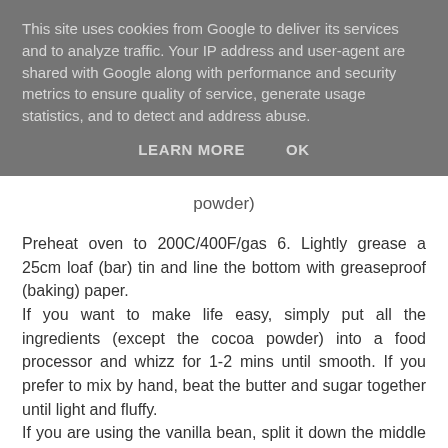This site uses cookies from Google to deliver its services and to analyze traffic. Your IP address and user-agent are shared with Google along with performance and security metrics to ensure quality of service, generate usage statistics, and to detect and address abuse.
LEARN MORE    OK
powder)
Preheat oven to 200C/400F/gas 6. Lightly grease a 25cm loaf (bar) tin and line the bottom with greaseproof (baking) paper.
If you want to make life easy, simply put all the ingredients (except the cocoa powder) into a food processor and whizz for 1-2 mins until smooth. If you prefer to mix by hand, beat the butter and sugar together until light and fluffy.
If you are using the vanilla bean, split it down the middle and scrape the seeds into a bowl. Alternatively, put the vanilla in the bowl, then add the eggs, one at a time, mixing well after each addition. Sift the flour and fold it in, alternating with the milk until the mixture is smooth.